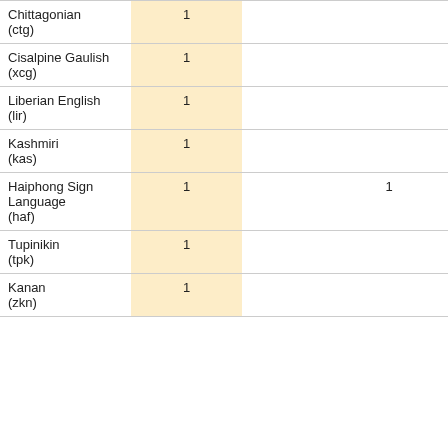| Chittagonian (ctg) | 1 |  |  | 1 |
| Cisalpine Gaulish (xcg) | 1 |  |  | 1 |
| Liberian English (lir) | 1 |  |  | 1 |
| Kashmiri (kas) | 1 |  |  | 1 |
| Haiphong Sign Language (haf) | 1 |  | 1 |  |
| Tupinikin (tpk) | 1 |  |  | 1 |
| Kanan (zkn) | 1 |  |  | 1 |